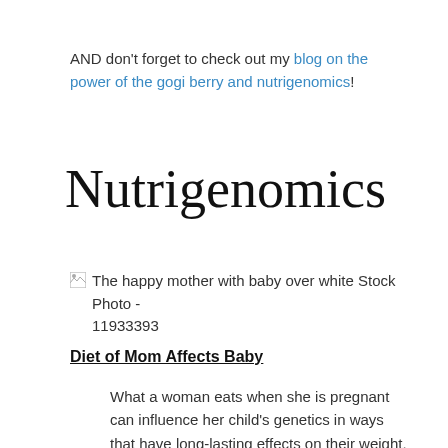AND don't forget to check out my blog on the power of the gogi berry and nutrigenomics!
Nutrigenomics
[Figure (photo): Broken image placeholder with alt text: The happy mother with baby over white Stock Photo - 11933393]
Diet of Mom Affects Baby
What a woman eats when she is pregnant can influence her child's genetics in ways that have long-lasting effects on their weight, finds research published in the journal Diabetes. This is the first study to show that maternal diet is linked to epigenetic change in